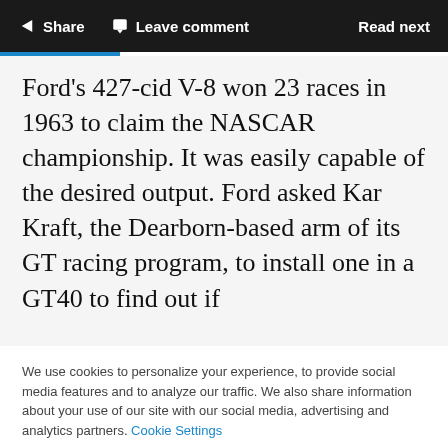Share   Leave comment   Read next
Ford's 427-cid V-8 won 23 races in 1963 to claim the NASCAR championship. It was easily capable of the desired output. Ford asked Kar Kraft, the Dearborn-based arm of its GT racing program, to install one in a GT40 to find out if
We use cookies to personalize your experience, to provide social media features and to analyze our traffic. We also share information about your use of our site with our social media, advertising and analytics partners. Cookie Settings
Accept all cookies